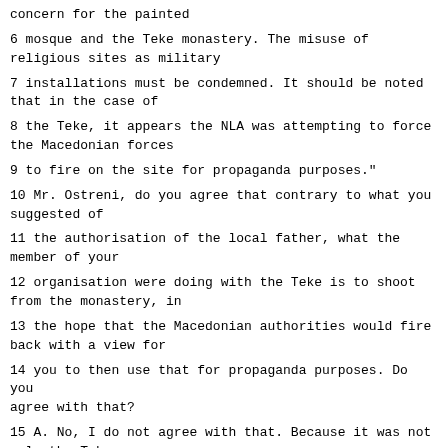concern for the painted
6 mosque and the Teke monastery. The misuse of religious sites as military
7 installations must be condemned. It should be noted that in the case of
8 the Teke, it appears the NLA was attempting to force the Macedonian forces
9 to fire on the site for propaganda purposes."
10 Mr. Ostreni, do you agree that contrary to what you suggested of
11 the authorisation of the local father, what the member of your
12 organisation were doing with the Teke is to shoot from the monastery, in
13 the hope that the Macedonian authorities would fire back with a view for
14 you to then use that for propaganda purposes. Do you agree with that?
15 A. No, I do not agree with that. Because it was not only the Teke
16 that was attacked by the army and the police forces